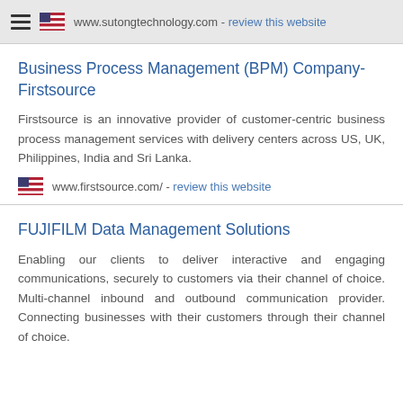www.sutongtechnology.com - review this website
Business Process Management (BPM) Company- Firstsource
Firstsource is an innovative provider of customer-centric business process management services with delivery centers across US, UK, Philippines, India and Sri Lanka.
www.firstsource.com/ - review this website
FUJIFILM Data Management Solutions
Enabling our clients to deliver interactive and engaging communications, securely to customers via their channel of choice. Multi-channel inbound and outbound communication provider. Connecting businesses with their customers through their channel of choice.